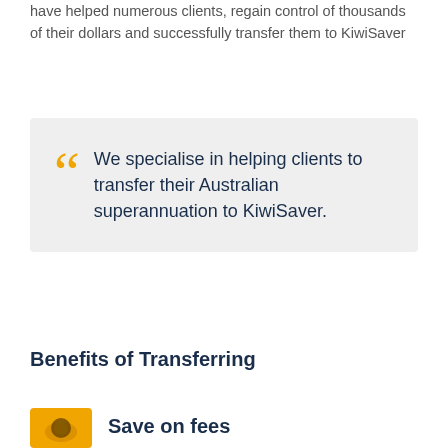have helped numerous clients, regain control of thousands of their dollars and successfully transfer them to KiwiSaver
We specialise in helping clients to transfer their Australian superannuation to KiwiSaver.
Benefits of Transferring
Save on fees